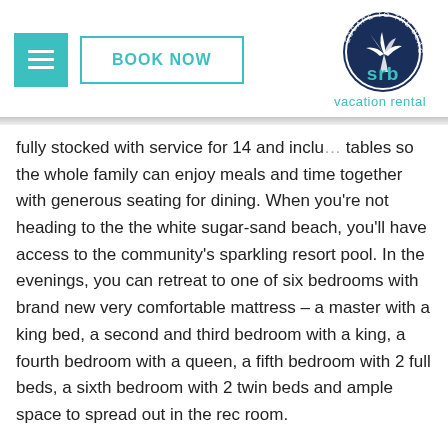BOOK NOW | SRb vacation rental logo
fully stocked with service for 14 and includ tables so the whole family can enjoy meals and time together with generous seating for dining. When you're not heading to the the white sugar-sand beach, you'll have access to the community's sparkling resort pool. In the evenings, you can retreat to one of six bedrooms with brand new very comfortable mattress – a master with a king bed, a second and third bedroom with a king, a fourth bedroom with a queen, a fifth bedroom with 2 full beds, a sixth bedroom with 2 twin beds and ample space to spread out in the rec room.
All linens are laundered and sanitized after every stay for your peace of mind.